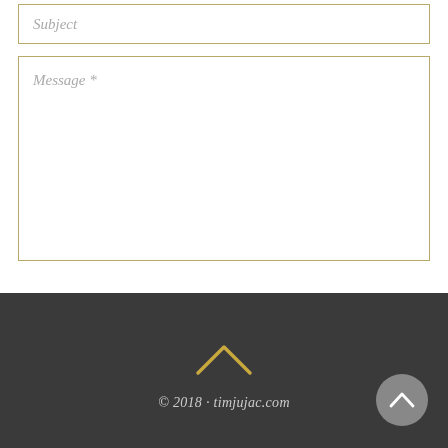Subject
Message *
Send
© 2018 · timjujac.com